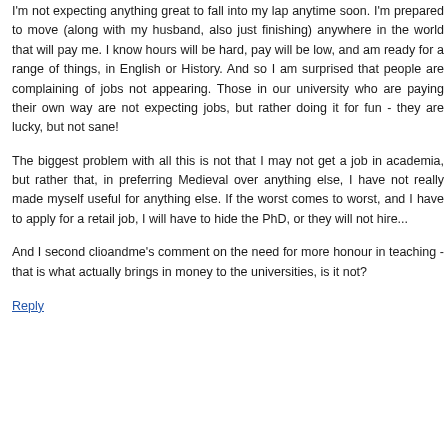I'm not expecting anything great to fall into my lap anytime soon. I'm prepared to move (along with my husband, also just finishing) anywhere in the world that will pay me. I know hours will be hard, pay will be low, and am ready for a range of things, in English or History. And so I am surprised that people are complaining of jobs not appearing. Those in our university who are paying their own way are not expecting jobs, but rather doing it for fun - they are lucky, but not sane!
The biggest problem with all this is not that I may not get a job in academia, but rather that, in preferring Medieval over anything else, I have not really made myself useful for anything else. If the worst comes to worst, and I have to apply for a retail job, I will have to hide the PhD, or they will not hire...
And I second clioandme's comment on the need for more honour in teaching - that is what actually brings in money to the universities, is it not?
Reply